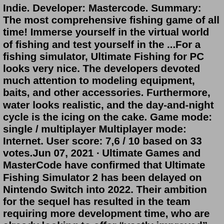Indie. Developer: Mastercode. Summary: The most comprehensive fishing game of all time! Immerse yourself in the virtual world of fishing and test yourself in the ...For a fishing simulator, Ultimate Fishing for PC looks very nice. The developers devoted much attention to modeling equipment, baits, and other accessories. Furthermore, water looks realistic, and the day-and-night cycle is the icing on the cake. Game mode: single / multiplayer Multiplayer mode: Internet. User score: 7,6 / 10 based on 33 votes.Jun 07, 2021 · Ultimate Games and MasterCode have confirmed that Ultimate Fishing Simulator 2 has been delayed on Nintendo Switch into 2022. Their ambition for the sequel has resulted in the team requiring more development time, who are already looking to offer “vastly improved” graphics, a third-person view and new dynamic water and fish AI systems. Ultimate Fishing Simulator is a massively multiplayer online fishing simulator, featuring realistic graphics and physics, loads of fish, and gorgeous locations. Fish boundless seas and oceans,